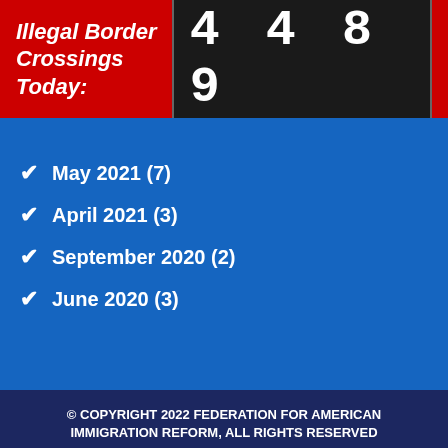Illegal Border Crossings Today: 4489
May 2021 (7)
April 2021 (3)
September 2020 (2)
June 2020 (3)
© COPYRIGHT 2022 FEDERATION FOR AMERICAN IMMIGRATION REFORM, ALL RIGHTS RESERVED
25 MASSACHUSETTS AVE. NW STE. 330, WASHINGTON, DC 20001
PHONE: (202) 328-7004   FAX: 202.387.3447
Stay Connected
HOME   PRIVACY POLICY   CONTACT US